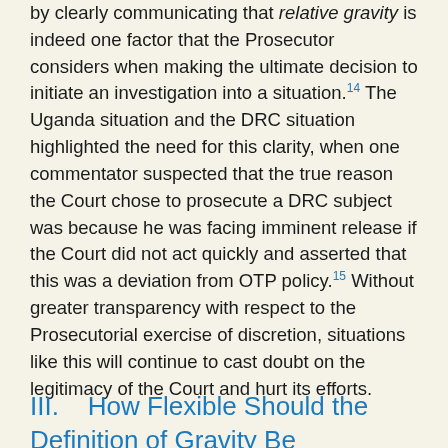by clearly communicating that relative gravity is indeed one factor that the Prosecutor considers when making the ultimate decision to initiate an investigation into a situation.14 The Uganda situation and the DRC situation highlighted the need for this clarity, when one commentator suspected that the true reason the Court chose to prosecute a DRC subject was because he was facing imminent release if the Court did not act quickly and asserted that this was a deviation from OTP policy.15 Without greater transparency with respect to the Prosecutorial exercise of discretion, situations like this will continue to cast doubt on the legitimacy of the Court and hurt its efforts.
III.    How Flexible Should the Definition of Gravity Be